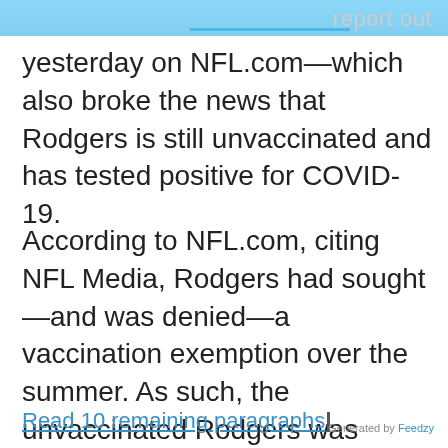report out
yesterday on NFL.com—which also broke the news that Rodgers is still unvaccinated and has tested positive for COVID-19.
According to NFL.com, citing NFL Media, Rodgers had sought—and was denied—a vaccination exemption over the summer. As such, the unvaccinated Rodgers was considered unvaccinated by the NFL.
Read 10 remaining paragraphs
Generated by Feedzy